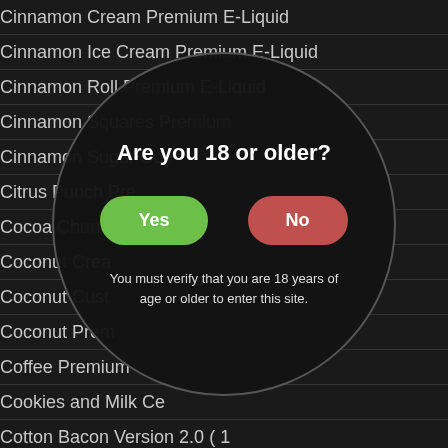Cinnamon Cream Premium E-Liquid
Cinnamon Ice Cream Premium E-Liquid
Cinnamon Roll Premium E-Liquid
Cinnamon Squares Premium
Cinnamon Sugar Coo
Citrus Punch Pre
Cocoa Chunks
Coconut Crea
Coconut Cust
Coconut Prem
Coffee Premium
Cookies and Milk Ce
Cotton Bacon Version 2.0 ( 1
Cotton Bacon Version 2.0 ( 3 Pack )
Cotton Candy Cupcake Premium E-Liquid
Cotton Candy Custard Premium E-Liquid
[Figure (screenshot): Age verification modal dialog overlaid on the list. A dark circle with the question 'Are you 18 or older?' and two buttons: a green 'Yes' button and a red 'No' button. Below the buttons is text: 'You must verify that you are 18 years of age or older to enter this site.']